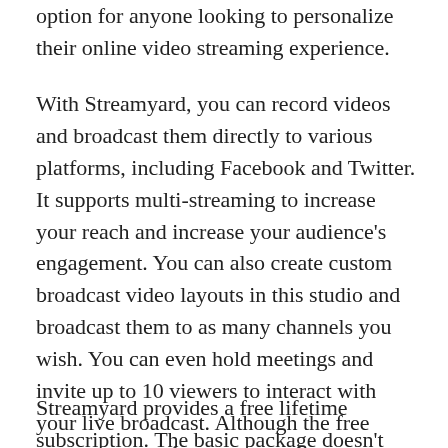option for anyone looking to personalize their online video streaming experience.
With Streamyard, you can record videos and broadcast them directly to various platforms, including Facebook and Twitter. It supports multi-streaming to increase your reach and increase your audience's engagement. You can also create custom broadcast video layouts in this studio and broadcast them to as many channels you wish. You can even hold meetings and invite up to 10 viewers to interact with your live broadcast. Although the free version allows for 20 hours of streaming, it is limited to full-HD (1080P).
Streamyard provides a free lifetime subscription. The basic package doesn't require